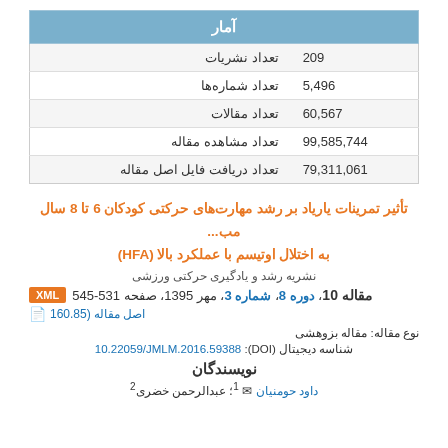| آمار |  |
| --- | --- |
| تعداد نشریات | 209 |
| تعداد شماره‌ها | 5,496 |
| تعداد مقالات | 60,567 |
| تعداد مشاهده مقاله | 99,585,744 |
| تعداد دریافت فایل اصل مقاله | 79,311,061 |
تأثیر تمرینات یاریاد بر رشد مهارت‌های حرکتی کودکان 6 تا 8 سال مبتلا به اختلال اوتیسم با عملکرد بالا (HFA)
نشریه رشد و یادگیری حرکتی ورزشی
مقاله 10، دوره 8، شماره 3، مهر 1395، صفحه 531-545
نوع مقاله: مقاله بزوهشی
شناسه دیجیتال (DOI): 10.22059/JMLM.2016.59388
نویسندگان
داود حومنیان ؛ 1؛ عبدالرحمن خضری 2